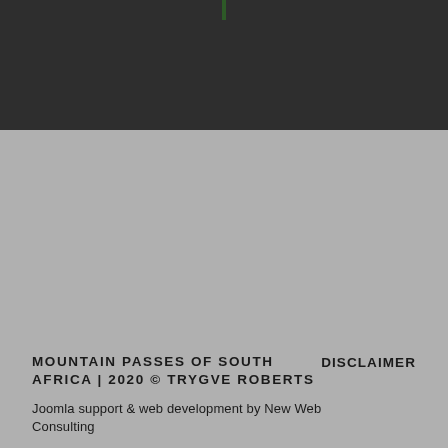[Figure (other): Dark navigation/header bar at top of page with a small green marker element]
MOUNTAIN PASSES OF SOUTH AFRICA | 2020 © TRYGVE ROBERTS    DISCLAIMER
Joomla support & web development by New Web Consulting